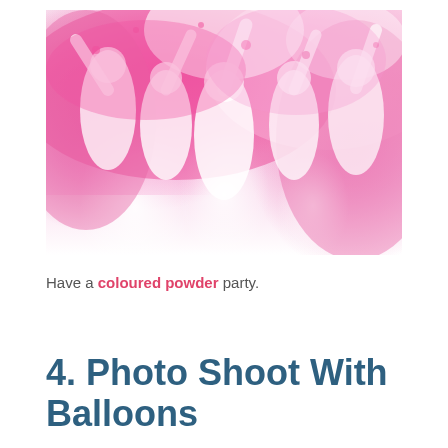[Figure (photo): Group of people celebrating a Holi-style coloured powder party, wearing white clothes, throwing vibrant pink powder in the air, arms raised, laughing and celebrating outdoors.]
Have a coloured powder party.
4. Photo Shoot With Balloons